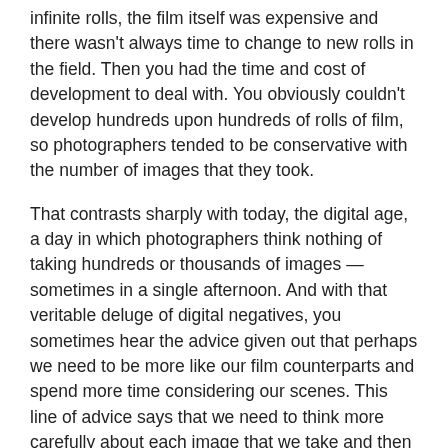infinite rolls, the film itself was expensive and there wasn't always time to change to new rolls in the field. Then you had the time and cost of development to deal with. You obviously couldn't develop hundreds upon hundreds of rolls of film, so photographers tended to be conservative with the number of images that they took.
That contrasts sharply with today, the digital age, a day in which photographers think nothing of taking hundreds or thousands of images — sometimes in a single afternoon. And with that veritable deluge of digital negatives, you sometimes hear the advice given out that perhaps we need to be more like our film counterparts and spend more time considering our scenes. This line of advice says that we need to think more carefully about each image that we take and then take fewer images in order to streamline the process of taking photos, loading them onto our computers, archiving and processing them.
I've always thought this advice was wrong, that taking fewer images is the wrong way to approach the idea of